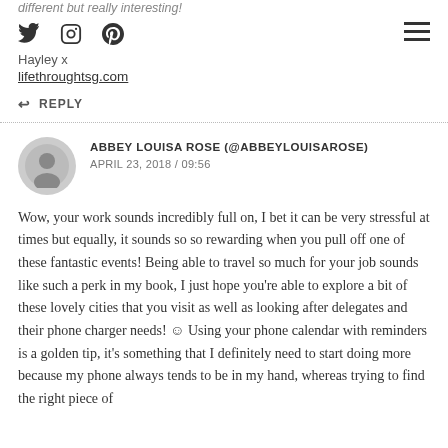different but really interesting!
[Figure (other): Social media icons: Twitter, Instagram, Pinterest; and hamburger menu icon]
Hayley x
lifethroughtsg.com
↩ REPLY
ABBEY LOUISA ROSE (@ABBEYLOUISAROSE)
APRIL 23, 2018 / 09:56
Wow, your work sounds incredibly full on, I bet it can be very stressful at times but equally, it sounds so so rewarding when you pull off one of these fantastic events! Being able to travel so much for your job sounds like such a perk in my book, I just hope you're able to explore a bit of these lovely cities that you visit as well as looking after delegates and their phone charger needs! ☺ Using your phone calendar with reminders is a golden tip, it's something that I definitely need to start doing more because my phone always tends to be in my hand, whereas trying to find the right piece of paper with a pen to hand, it can go one or two ways, I know!